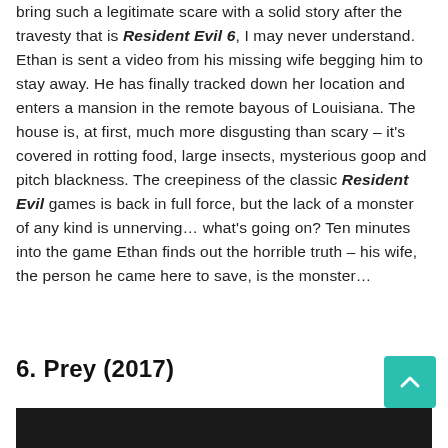bring such a legitimate scare with a solid story after the travesty that is Resident Evil 6, I may never understand. Ethan is sent a video from his missing wife begging him to stay away. He has finally tracked down her location and enters a mansion in the remote bayous of Louisiana. The house is, at first, much more disgusting than scary – it's covered in rotting food, large insects, mysterious goop and pitch blackness. The creepiness of the classic Resident Evil games is back in full force, but the lack of a monster of any kind is unnerving… what's going on? Ten minutes into the game Ethan finds out the horrible truth – his wife, the person he came here to save, is the monster…
6. Prey (2017)
[Figure (photo): Dark image strip at the bottom of the page, partially visible, appears to be a screenshot from a video game]